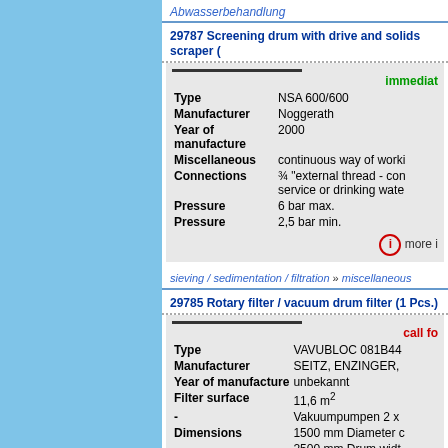Abwasserbehandlung
29787 Screening drum with drive and solids scraper (
immediately
| Property | Value |
| --- | --- |
| Type | NSA 600/600 |
| Manufacturer | Noggerath |
| Year of manufacture | 2000 |
| Miscellaneous | continuous way of worki |
| Connections | ¾ "external thread - con service or drinking wate |
| Pressure | 6 bar max. |
| Pressure | 2,5 bar min. |
more i
sieving / sedimentation / filtration » miscellaneous
29785 Rotary filter / vacuum drum filter (1 Pcs.)
call fo
| Property | Value |
| --- | --- |
| Type | VAVUBLOC 081B44 |
| Manufacturer | SEITZ, ENZINGER, |
| Year of manufacture | unbekannt |
| Filter surface | 11,6 m² |
| - | Vakuumpumpen 2 x |
| Dimensions | 1500 mm Diameter c |
|  | 2500 mm Drum widt |